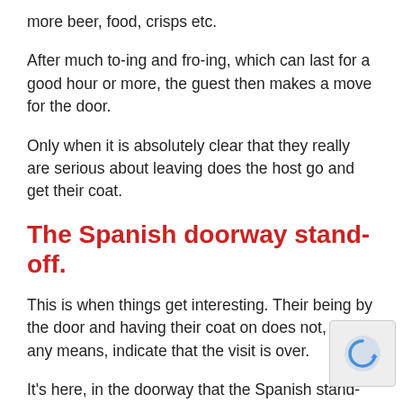more beer, food, crisps etc.
After much to-ing and fro-ing, which can last for a good hour or more, the guest then makes a move for the door.
Only when it is absolutely clear that they really are serious about leaving does the host go and get their coat.
The Spanish doorway stand-off.
This is when things get interesting. Their being by the door and having their coat on does not, by any means, indicate that the visit is over.
It's here, in the doorway that the Spanish stand-off begins. A good fifteen minutes can pass in which and guest talk about a wide range of subjects, th family should be engaged with, on and on the door for the